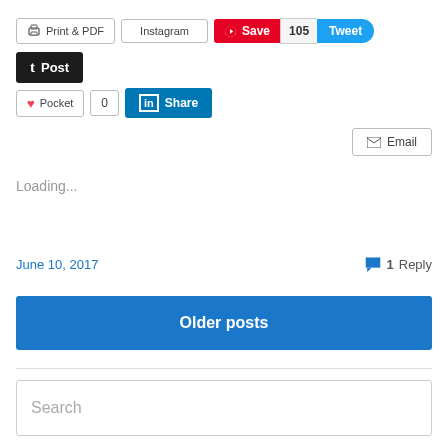[Figure (screenshot): Social sharing buttons row: Print & PDF, Instagram, Pinterest Save (red), 105 count, Tweet (blue)]
[Figure (screenshot): Tumblr Post button (dark)]
[Figure (screenshot): Pocket button, 0 count, LinkedIn Share button]
[Figure (screenshot): Email button on right]
Loading...
June 10, 2017
1 Reply
Older posts
Search